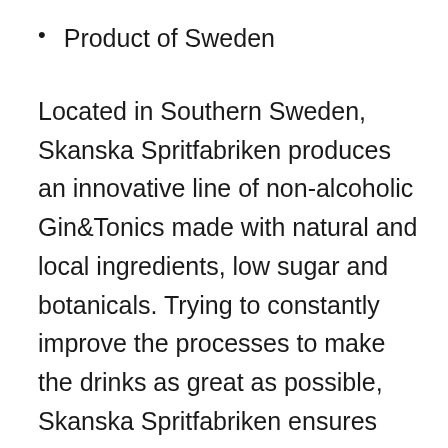Product of Sweden
Located in Southern Sweden, Skanska Spritfabriken produces an innovative line of non-alcoholic Gin&Tonics made with natural and local ingredients, low sugar and botanicals. Trying to constantly improve the processes to make the drinks as great as possible, Skanska Spritfabriken ensures the least possible impact on the environment. Swedish grown beet sugar is used over organic sugar from South America. Locally, and whenever possible, organically grown ingredients are used that are free from GMOs. Low or no sugar. Ingredients, if not grown on the Skanska farm, are sourced locally and traded